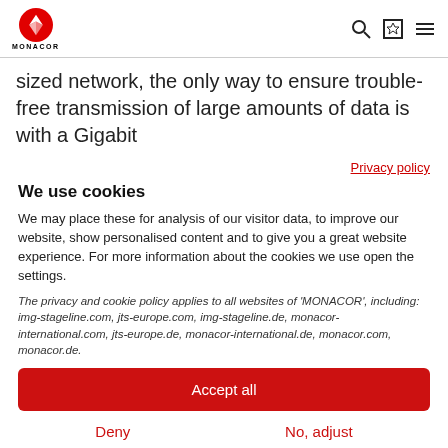MONACOR [logo with search, bookmark, menu icons]
sized network, the only way to ensure trouble-free transmission of large amounts of data is with a Gigabit
Privacy policy
We use cookies
We may place these for analysis of our visitor data, to improve our website, show personalised content and to give you a great website experience. For more information about the cookies we use open the settings.
The privacy and cookie policy applies to all websites of 'MONACOR', including: img-stageline.com, jts-europe.com, img-stageline.de, monacor-international.com, jts-europe.de, monacor-international.de, monacor.com, monacor.de.
Accept all
Deny
No, adjust